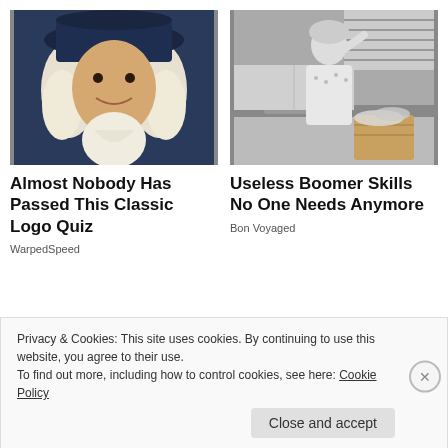[Figure (photo): Quaker Oats mascot illustration - man with white colonial wig and dark wide-brimmed hat, white cravat, smiling]
[Figure (photo): Black and white vintage photo of a woman in apron in a kitchen looking stressed or tired]
Almost Nobody Has Passed This Classic Logo Quiz
WarpedSpeed
Useless Boomer Skills No One Needs Anymore
Bon Voyaged
Privacy & Cookies: This site uses cookies. By continuing to use this website, you agree to their use.
To find out more, including how to control cookies, see here: Cookie Policy
Close and accept